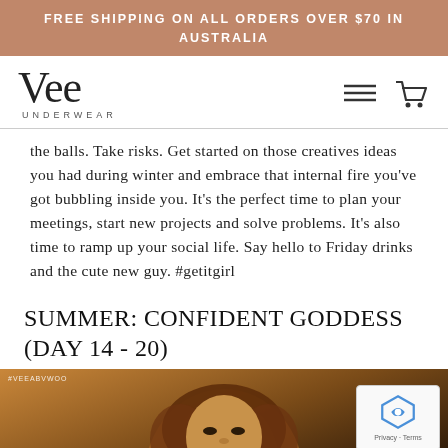FREE SHIPPING ON ALL ORDERS OVER $70 IN AUSTRALIA
[Figure (logo): Vee Underwear logo with hamburger menu and cart icons]
the balls. Take risks. Get started on those creatives ideas you had during winter and embrace that internal fire you've got bubbling inside you. It's the perfect time to plan your meetings, start new projects and solve problems. It's also time to ramp up your social life. Say hello to Friday drinks and the cute new guy. #getitgirl
SUMMER: CONFIDENT GODDESS (DAY 14 - 20)
[Figure (photo): Photo of a woman with curly hair against a warm golden background, with reCAPTCHA overlay in bottom right]